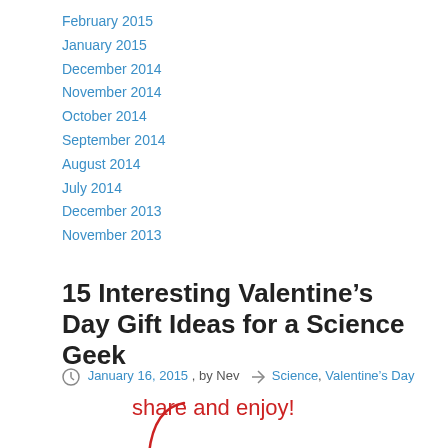February 2015
January 2015
December 2014
November 2014
October 2014
September 2014
August 2014
July 2014
December 2013
November 2013
15 Interesting Valentine’s Day Gift Ideas for a Science Geek
January 16, 2015 , by Nev  Science, Valentine’s Day
[Figure (infographic): Share and enjoy! text with arrow pointing down to social media icons (Twitter, Facebook, Pinterest, Reddit, More)]